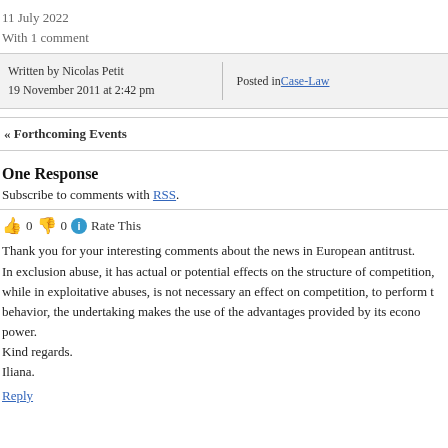11 July 2022
With 1 comment
Written by Nicolas Petit
19 November 2011 at 2:42 pm
Posted in Case-Law
« Forthcoming Events
One Response
Subscribe to comments with RSS.
👍 0 👎 0 ℹ Rate This
Thank you for your interesting comments about the news in European antitrust. In exclusion abuse, it has actual or potential effects on the structure of competition, while in exploitative abuses, is not necessary an effect on competition, to perform t behavior, the undertaking makes the use of the advantages provided by its econo power.
Kind regards.
Iliana.
Reply